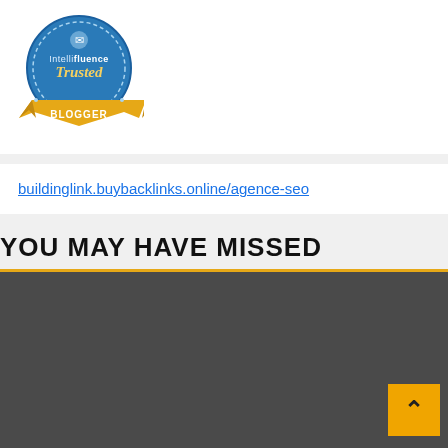[Figure (logo): Intellifluence Trusted Blogger badge - circular blue badge with gold ribbon banner at bottom reading BLOGGER]
buildinglink.buybacklinks.online/agence-seo
YOU MAY HAVE MISSED
[Figure (photo): Dark gray/charcoal background image area, partially visible, with a gold/orange back-to-top arrow button in the bottom right corner]